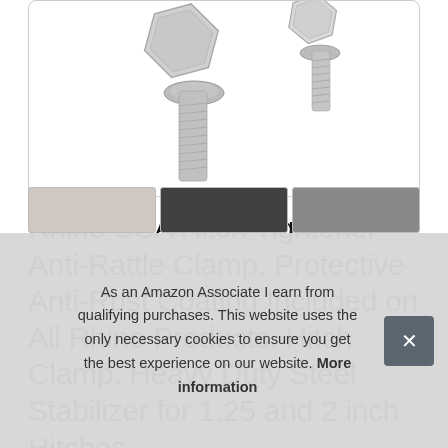[Figure (photo): Product photo of two stainless steel bolts/screws with hex heads on white background]
Rhino USA Hitch Tightener Anti-Rattle Clamp, Protective Anti-Rust Coating Included on All Rhino Products. Hitch Clamp, Heavy Duty Steel Stabilizer for 1.25 and 2 inch Hitches
#ad
As an Amazon Associate I earn from qualifying purchases. This website uses the only necessary cookies to ensure you get the best experience on our website. More information